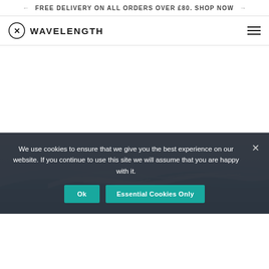FREE DELIVERY ON ALL ORDERS OVER £80. SHOP NOW
[Figure (logo): Wavelength brand logo with circled X icon and uppercase WAVELENGTH text]
[Figure (photo): Large ocean wave crashing with blue-green water and white foam, dramatic surf photography]
We use cookies to ensure that we give you the best experience on our website. If you continue to use this site we will assume that you are happy with it.